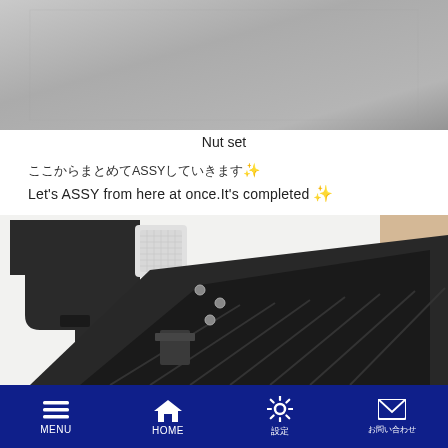[Figure (photo): Photo of a grey/metal surface, appears to be a nut set or hardware component on a light grey background]
Nut set
ここからまとめてASSYしていきます✨
Let's ASSY from here at once.It's completed ✨
[Figure (photo): Photo of assembled black hardware components including brackets, a white cube-shaped piece, and a black box/enclosure on a white surface]
MENU | HOME | 設定 | お問い合わせ